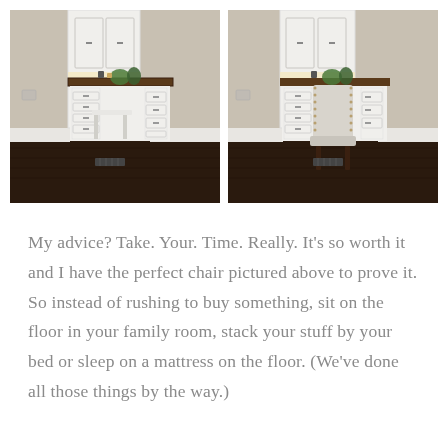[Figure (photo): Two side-by-side photos of a built-in white desk setup with dark wood countertop and upper cabinets. Left photo shows a small bench/stool tucked under the desk. Right photo shows an upholstered gray/white chair with nailhead trim at the desk.]
My advice? Take. Your. Time. Really. It's so worth it and I have the perfect chair pictured above to prove it. So instead of rushing to buy something, sit on the floor in your family room, stack your stuff by your bed or sleep on a mattress on the floor. (We've done all those things by the way.)